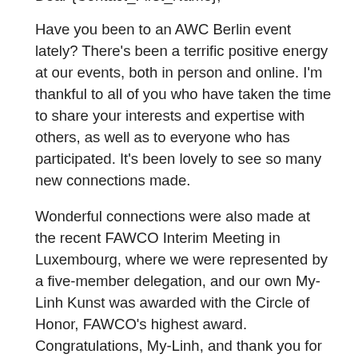Dear {Contact_First_Name},
Have you been to an AWC Berlin event lately? There's been a terrific positive energy at our events, both in person and online. I'm thankful to all of you who have taken the time to share your interests and expertise with others, as well as to everyone who has participated. It's been lovely to see so many new connections made.
Wonderful connections were also made at the recent FAWCO Interim Meeting in Luxembourg, where we were represented by a five-member delegation, and our own My-Linh Kunst was awarded with the Circle of Honor, FAWCO's highest award. Congratulations, My-Linh, and thank you for all you do for FAWCO and our Club! Read all about the conference and the award in the FAWCO section below.
We're excited for our 4th of July Celebration (on the 3rd of July) at the Wirtshaus zur Pfaueninsel. Please be sure to register any family members and other guests who will attend, including children. If you've already registered yourself and would like to add guests, just reach out to Kathy